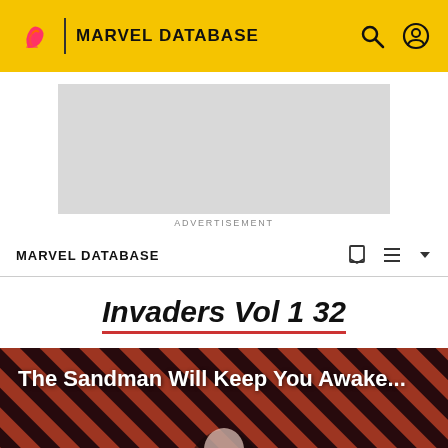MARVEL DATABASE
[Figure (other): Advertisement placeholder box]
ADVERTISEMENT
MARVEL DATABASE
Invaders Vol 1 32
[Figure (photo): Comic book cover image with diagonal red and black stripes background, figure of a person in foreground, with text 'The Sandman Will Keep You Awake...']